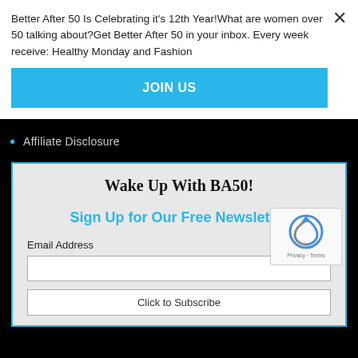Better After 50 Is Celebrating it's 12th Year!What are women over 50 talking about?Get Better After 50 in your inbox. Every week receive: Healthy Monday and Fashion
JOIN US
Affiliate Disclosure
Wake Up With BA50!
Sign Up for Our Free Newsletter
Email Address
Click to Subscribe